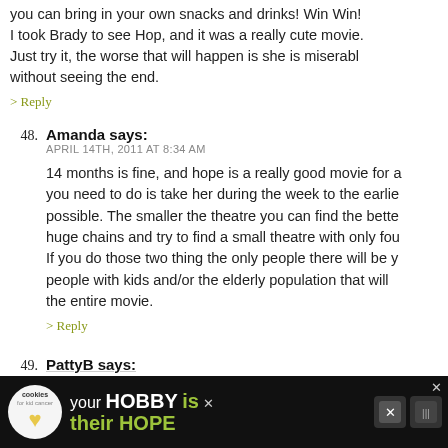you can bring in your own snacks and drinks! Win Win!
I took Brady to see Hop, and it was a really cute movie.
Just try it, the worse that will happen is she is miserable without seeing the end.
> Reply
48. Amanda says:
APRIL 14TH, 2011 AT 8:34 AM
14 months is fine, and hope is a really good movie for a you need to do is take her during the week to the earlie possible. The smaller the theatre you can find the bette huge chains and try to find a small theatre with only fou If you do those two thing the only people there will be y people with kids and/or the elderly population that will the entire movie.
> Reply
49. PattyB says:
[Figure (screenshot): Advertisement banner: cookies for kids cancer charity ad with 'your HOBBY is their HOPE' text on dark background]